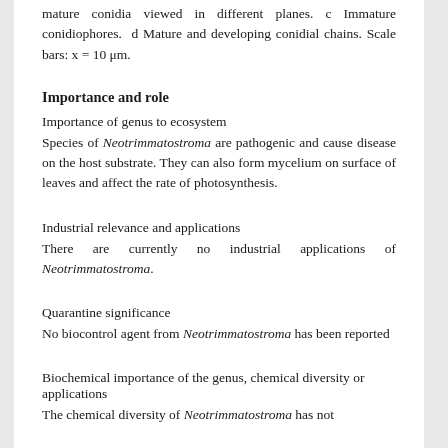mature conidia viewed in different planes. c Immature conidiophores.  d Mature and developing conidial chains. Scale bars: x = 10 μm.
Importance and role
Importance of genus to ecosystem
Species of Neotrimmatostroma are pathogenic and cause disease on the host substrate. They can also form mycelium on surface of leaves and affect the rate of photosynthesis.
Industrial relevance and applications
There are currently no industrial applications of Neotrimmatostroma.
Quarantine significance
No biocontrol agent from Neotrimmatostroma has been reported
Biochemical importance of the genus, chemical diversity or applications
The chemical diversity of Neotrimmatostroma has not